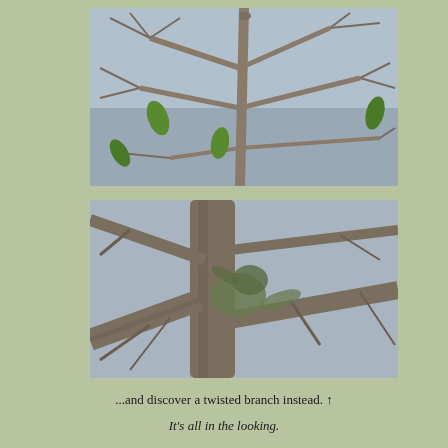[Figure (photo): A bare tree with leafless branches against a blue-grey sky, with green mango-like fruits hanging from the branches.]
[Figure (photo): A close-up of twisted tree branches against a blue-grey sky, showing the gnarled, intertwining structure of the trunk and branches.]
...and discover a twisted branch instead. ↑
It's all in the looking.